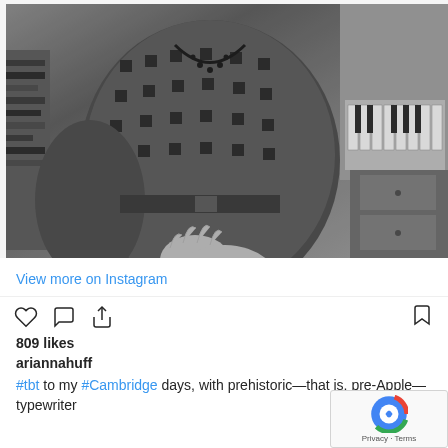[Figure (photo): Black and white photograph of a woman in a textured knit/woven dress with a beaded necklace, sitting near bookshelves and what appears to be a typewriter or piano keyboard on the right side.]
View more on Instagram
809 likes
ariannahuff
#tbt to my #Cambridge days, with prehistoric—that is, pre-Apple—typewriter